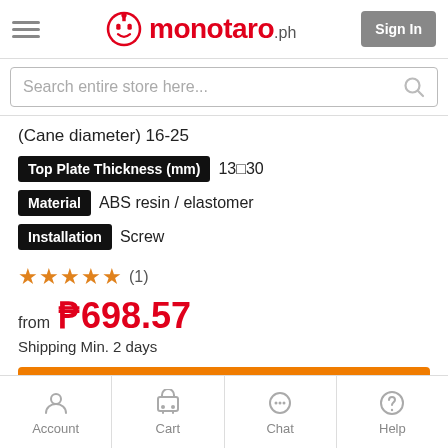[Figure (logo): Monotaro.ph logo with red robot icon and red text, plus Sign In button]
Search entire store here...
(Cane diameter) 16-25
Top Plate Thickness (mm)  13□30
Material  ABS resin / elastomer
Installation  Screw
★★★★★ (1)
from ₱698.57
Shipping Min. 2 days
See All Products
Account  Cart  Chat  Help